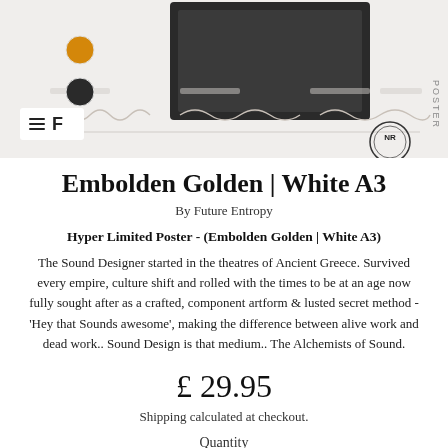[Figure (screenshot): Screenshot of a product listing page header showing a poster preview image, navigation elements including hamburger menu and 'F' logo, color swatches (golden/orange and dark), and a circular NR badge on the right side.]
Embolden Golden | White A3
By Future Entropy
Hyper Limited Poster - (Embolden Golden | White A3)
The Sound Designer started in the theatres of Ancient Greece. Survived every empire, culture shift and rolled with the times to be at an age now fully sought after as a crafted, component artform & lusted secret method - 'Hey that Sounds awesome', making the difference between alive work and dead work.. Sound Design is that medium.. The Alchemists of Sound.
£ 29.95
Shipping calculated at checkout.
Quantity
1